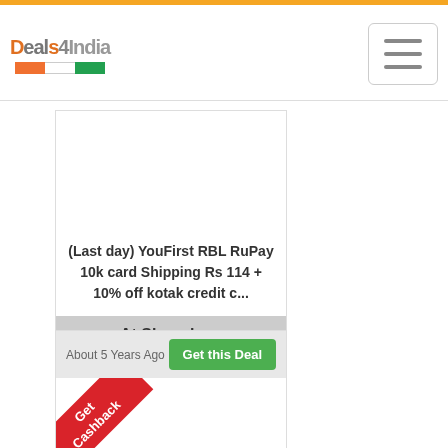[Figure (logo): Deals4India logo with tricolor Indian flag stripe]
[Figure (illustration): Hamburger menu button (three horizontal lines)]
(Last day) YouFirst RBL RuPay 10k card Shipping Rs 114 + 10% off kotak credit c...
At Shopclues
About 5 Years Ago
Get this Deal
[Figure (illustration): Get Cashback red diagonal ribbon banner]